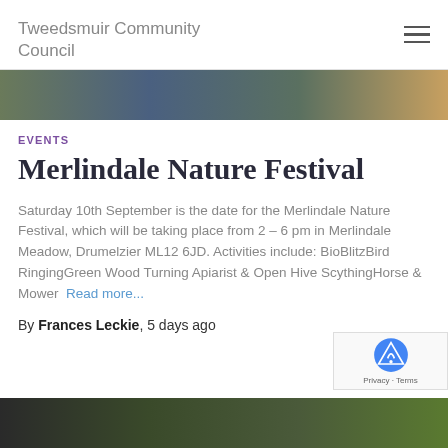Tweedsmuir Community Council
[Figure (photo): Top banner image showing nature scene with birds and foliage]
EVENTS
Merlindale Nature Festival
Saturday 10th September is the date for the Merlindale Nature Festival, which will be taking place from 2 – 6 pm in Merlindale Meadow, Drumelzier ML12 6JD. Activities include: BioBlitzBird RingingGreen Wood Turning Apiarist & Open Hive ScythingHorse & Mower  Read more...
By Frances Leckie, 5 days ago
[Figure (photo): Bottom image showing outdoor scene with grass]